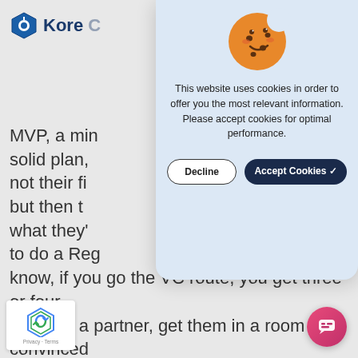[Figure (logo): KoreConX logo with hexagonal blue icon and company name text]
MVP, a min solid plan, not their fi but then t what they' to do a Reg know, if you go the VC route, you get three or four analysts a partner, get them in a room convinced them to three more meetings, and bam, you've got a nice big check. The reason to do a reggae and we want to make sure the motivation is there is that you ant three or four people validating your s plan, you want 1000s of people to va your business plan, and you want a bunch of them to
[Figure (screenshot): Cookie consent modal dialog with orange cookie emoji, text asking to accept cookies for optimal performance, and Decline / Accept Cookies buttons]
[Figure (logo): Google reCAPTCHA badge with Privacy - Terms text]
[Figure (illustration): Pink/red circular chat button in bottom right corner]